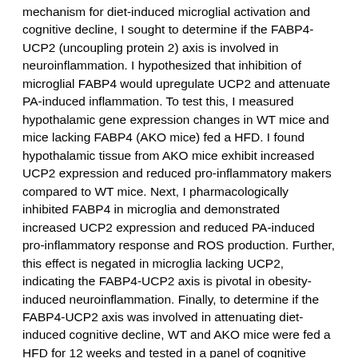mechanism for diet-induced microglial activation and cognitive decline, I sought to determine if the FABP4-UCP2 (uncoupling protein 2) axis is involved in neuroinflammation. I hypothesized that inhibition of microglial FABP4 would upregulate UCP2 and attenuate PA-induced inflammation. To test this, I measured hypothalamic gene expression changes in WT mice and mice lacking FABP4 (AKO mice) fed a HFD. I found hypothalamic tissue from AKO mice exhibit increased UCP2 expression and reduced pro-inflammatory makers compared to WT mice. Next, I pharmacologically inhibited FABP4 in microglia and demonstrated increased UCP2 expression and reduced PA-induced pro-inflammatory response and ROS production. Further, this effect is negated in microglia lacking UCP2, indicating the FABP4-UCP2 axis is pivotal in obesity-induced neuroinflammation. Finally, to determine if the FABP4-UCP2 axis was involved in attenuating diet-induced cognitive decline, WT and AKO mice were fed a HFD for 12 weeks and tested in a panel of cognitive tasks. I found that mice maintained on a HFD had reduced locomotor activity. Further, WT mice maintained on HFD had impaired memory, and AKO had attenuated HFD-induced memory impairment. Collectively, these results indicate that the FABP4-UCP2 axis is a link between HFD, neuroinflammation, and cognitive impairment.